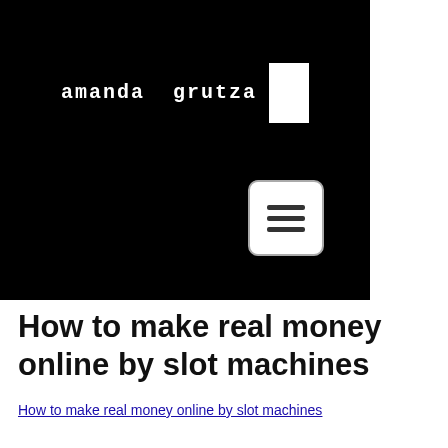[Figure (logo): Amanda Grutza logo — black background with white monospace text 'amanda grutza' and a white rectangle block to the right]
[Figure (other): Hamburger menu button — white rounded square with three horizontal dark lines]
How to make real money online by slot machines
How to make real money online by slot machines
[Figure (photo): Blurred screenshot of a slot machine game with colorful characters and casino-style graphics]